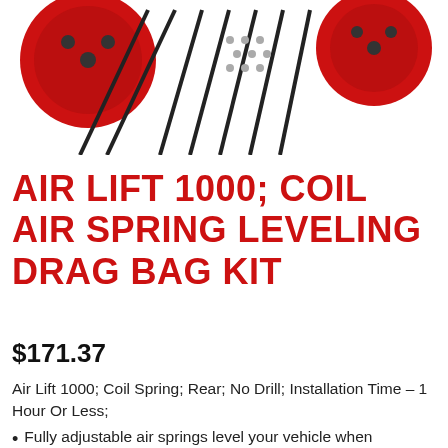[Figure (photo): Product photo showing red circular end caps (two), black coil springs/rods, and small hardware components arranged on white background]
AIR LIFT 1000; COIL AIR SPRING LEVELING DRAG BAG KIT
$171.37
Air Lift 1000; Coil Spring; Rear; No Drill; Installation Time – 1 Hour Or Less;
Fully adjustable air springs level your vehicle when